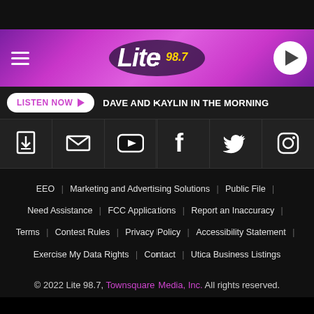[Figure (screenshot): Lite 98.7 radio station website header with pink/purple gradient background, hamburger menu, Lite 98.7 logo, and play button]
LISTEN NOW ▶  DAVE AND KAYLIN IN THE MORNING
[Figure (infographic): Social media icons row: app download, email/envelope, YouTube, Facebook, Twitter, Instagram]
EEO | Marketing and Advertising Solutions | Public File | Need Assistance | FCC Applications | Report an Inaccuracy | Terms | Contest Rules | Privacy Policy | Accessibility Statement | Exercise My Data Rights | Contact | Utica Business Listings
© 2022 Lite 98.7, Townsquare Media, Inc. All rights reserved.